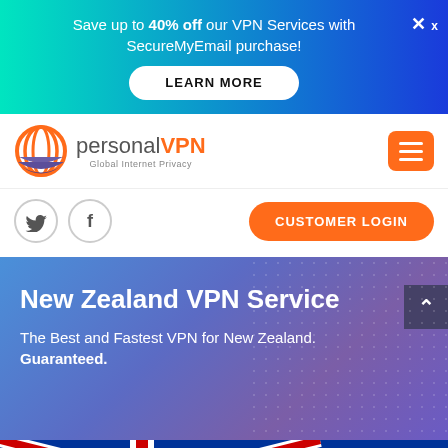Save up to 40% off our VPN Services with SecureMyEmail purchase!
LEARN MORE
[Figure (logo): personalVPN logo with globe icon and tagline 'Global Internet Privacy']
[Figure (other): Hamburger menu icon (orange button with three white lines)]
[Figure (other): Twitter bird icon in circle]
[Figure (other): Facebook f icon in circle]
CUSTOMER LOGIN
New Zealand VPN Service
The Best and Fastest VPN for New Zealand. Guaranteed.
[Figure (illustration): New Zealand flag partially visible at the bottom of the page]